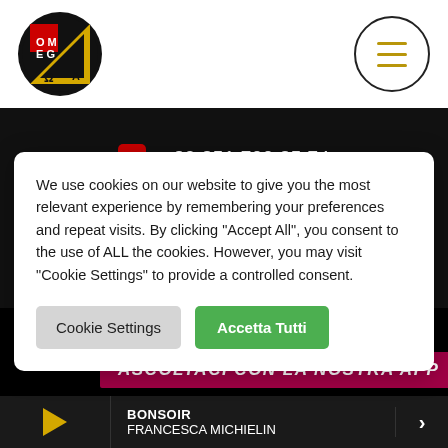[Figure (logo): Omega radio logo - circular black logo with yellow/red triangle and omega symbol]
+39 351 700 35 74
+39 0521 16 27 319
We use cookies on our website to give you the most relevant experience by remembering your preferences and repeat visits. By clicking "Accept All", you consent to the use of ALL the cookies. However, you may visit "Cookie Settings" to provide a controlled consent.
Cookie Settings
Accetta Tutti
ASCOLTACI CON LA NOSTRA APP
BONSOIR FRANCESCA MICHIELIN